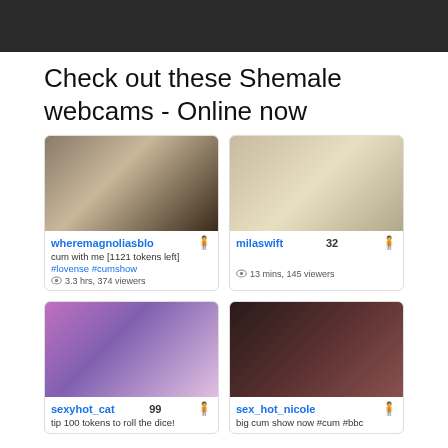[Figure (photo): Dark screenshot at top of page]
Check out these Shemale webcams - Online now
[Figure (screenshot): wheremagnoliasblo webcam thumbnail]
[Figure (screenshot): milaswift webcam thumbnail - 32 viewers]
[Figure (screenshot): sexyhot_cat webcam thumbnail - 99 viewers]
[Figure (screenshot): sex_hot_nicole webcam thumbnail]